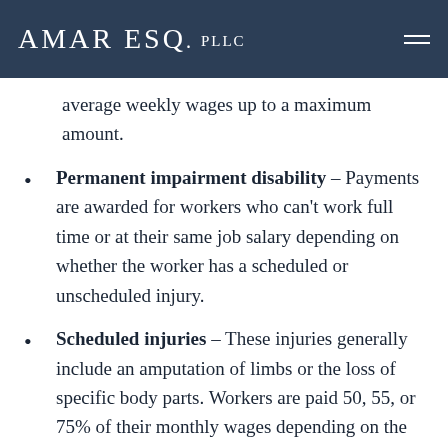Amar Esq. PLLC
average weekly wages up to a maximum amount.
Permanent impairment disability – Payments are awarded for workers who can't work full time or at their same job salary depending on whether the worker has a scheduled or unscheduled injury.
Scheduled injuries – These injuries generally include an amputation of limbs or the loss of specific body parts. Workers are paid 50, 55, or 75% of their monthly wages depending on the severity of their injury. The length of benefits depends on the type of injury. For example, the